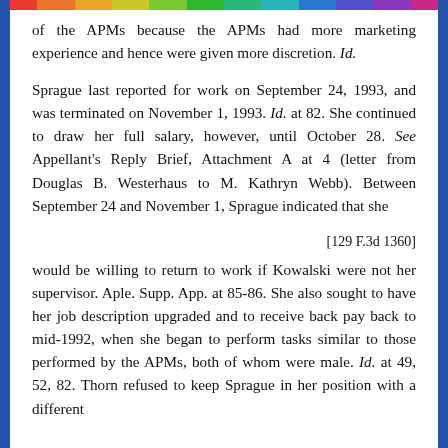of the APMs because the APMs had more marketing experience and hence were given more discretion. Id.
Sprague last reported for work on September 24, 1993, and was terminated on November 1, 1993. Id. at 82. She continued to draw her full salary, however, until October 28. See Appellant's Reply Brief, Attachment A at 4 (letter from Douglas B. Westerhaus to M. Kathryn Webb). Between September 24 and November 1, Sprague indicated that she
[129 F.3d 1360]
would be willing to return to work if Kowalski were not her supervisor. Aple. Supp. App. at 85-86. She also sought to have her job description upgraded and to receive back pay back to mid-1992, when she began to perform tasks similar to those performed by the APMs, both of whom were male. Id. at 49, 52, 82. Thorn refused to keep Sprague in her position with a different